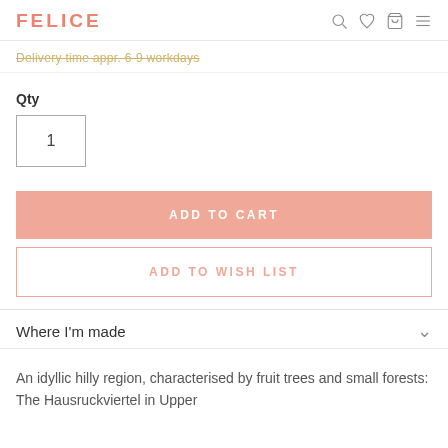FELICE
Delivery time appr. 6-9 workdays
Qty
1
ADD TO CART
ADD TO WISH LIST
Where I'm made
An idyllic hilly region, characterised by fruit trees and small forests: The Hausruckviertel in Upper